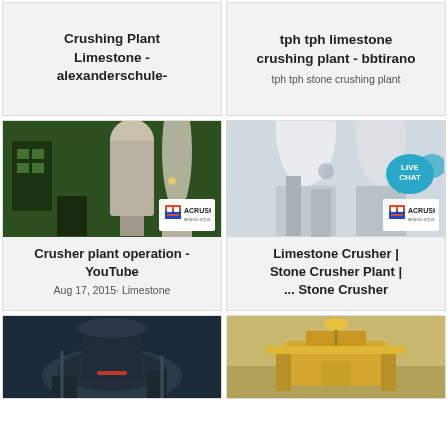Crushing Plant Limestone - alexanderschule-
tph tph limestone crushing plant - bbtirano
tph tph stone crushing plant
[Figure (photo): Industrial green-lit factory interior with large cylindrical machinery and ACRUSHER mining equipment branding]
Crusher plant operation - YouTube
Aug 17, 2015· Limestone
[Figure (photo): White dusty industrial interior with large industrial equipment and ACRUSHER mining equipment branding]
Limestone Crusher | Stone Crusher Plant | ... Stone Crusher
[Figure (photo): Dark large industrial cone crusher machinery]
[Figure (photo): Outdoor yellow stone crushing plant with dust in sandy environment]